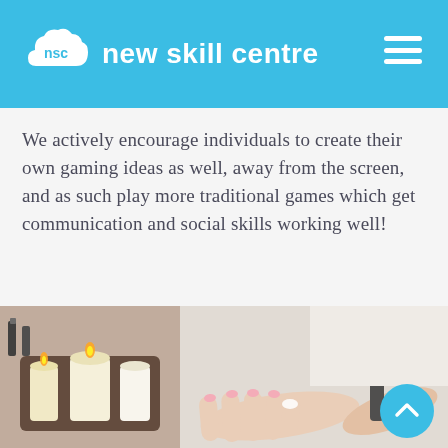nsc new skill centre
We actively encourage individuals to create their own gaming ideas as well, away from the screen, and as such play more traditional games which get communication and social skills working well!
[Figure (photo): A nail technician applying nail polish to a client's hand, with candles and nail polish bottles in the background on a dark wooden tray.]